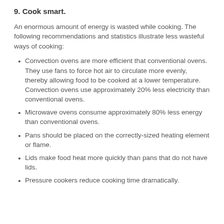9. Cook smart.
An enormous amount of energy is wasted while cooking. The following recommendations and statistics illustrate less wasteful ways of cooking:
Convection ovens are more efficient that conventional ovens. They use fans to force hot air to circulate more evenly, thereby allowing food to be cooked at a lower temperature. Convection ovens use approximately 20% less electricity than conventional ovens.
Microwave ovens consume approximately 80% less energy than conventional ovens.
Pans should be placed on the correctly-sized heating element or flame.
Lids make food heat more quickly than pans that do not have lids.
Pressure cookers reduce cooking time dramatically.